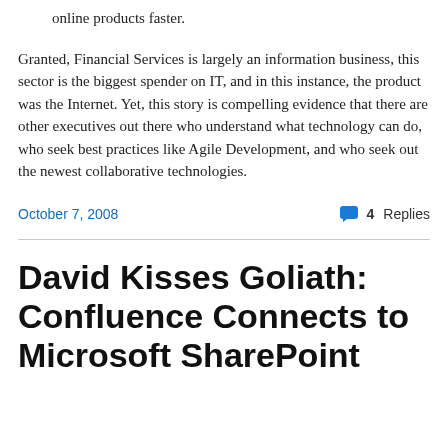online products faster.
Granted, Financial Services is largely an information business, this sector is the biggest spender on IT, and in this instance, the product was the Internet. Yet, this story is compelling evidence that there are other executives out there who understand what technology can do, who seek best practices like Agile Development, and who seek out the newest collaborative technologies.
October 7, 2008
4 Replies
David Kisses Goliath: Confluence Connects to Microsoft SharePoint